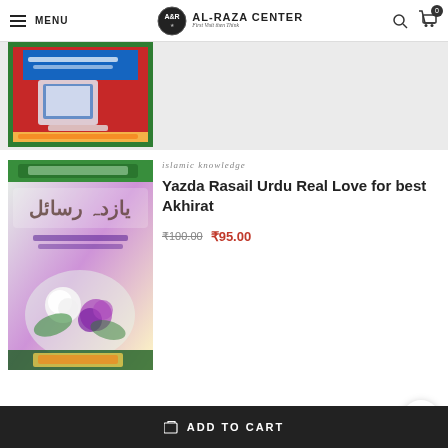MENU | AL-RAZA CENTER | First Visit then Think
[Figure (photo): Partial view of a book with Urdu text and Islamic imagery (red and green cover)]
islamic knowledge
Yazda Rasail Urdu Real Love for best Akhirat
₹100.00  ₹95.00
[Figure (photo): Book cover of 'Yazda Rasail' with Urdu calligraphy, flowers, and colorful background]
ADD TO CART